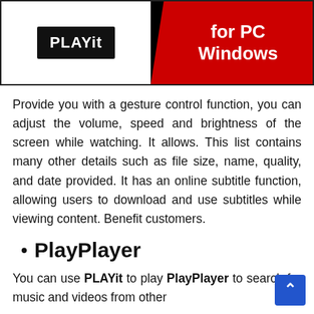[Figure (illustration): PLAYit app banner image with black and white left half showing PLAYit logo and red right half with text 'for PC Windows']
Provide you with a gesture control function, you can adjust the volume, speed and brightness of the screen while watching. It allows. This list contains many other details such as file size, name, quality, and date provided. It has an online subtitle function, allowing users to download and use subtitles while viewing content. Benefit customers.
PlayPlayer
You can use PLAYit to play PlayPlayer to search for music and videos from other